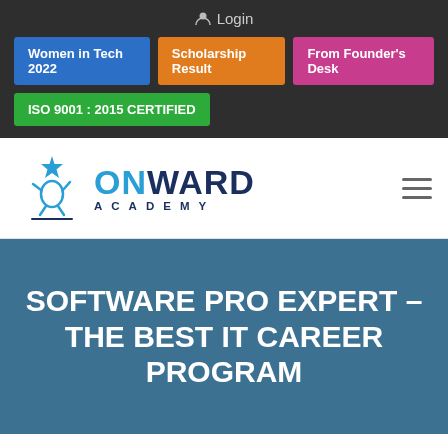Login
Women in Tech 2022
Scholarship Result
From Founder's Desk
ISO 9001 : 2015 CERTIFIED
[Figure (logo): Onward Academy logo with jumping figure and star, text ONWARD ACADEMY]
SOFTWARE PRO EXPERT – THE BEST IT CAREER PROGRAM